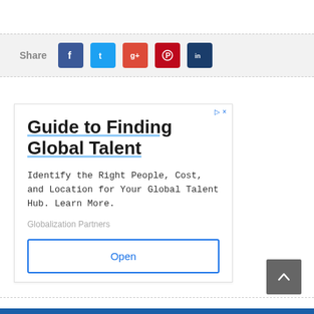[Figure (infographic): Social share bar with Facebook, Twitter, Google+, Pinterest, and LinkedIn buttons]
[Figure (screenshot): Advertisement box: Guide to Finding Global Talent. Identify the Right People, Cost, and Location for Your Global Talent Hub. Learn More. Globalization Partners. Open button.]